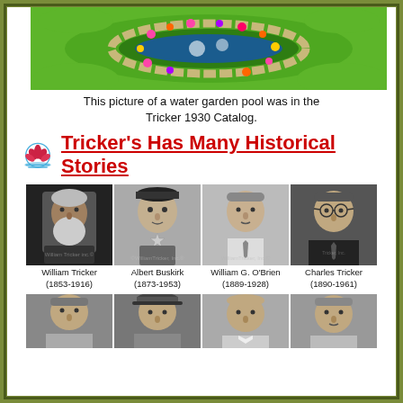[Figure (illustration): Aerial illustration of a water garden pool surrounded by green grass, flowers, and a stone border, from Tricker 1930 Catalog]
This picture of a water garden pool was in the Tricker 1930 Catalog.
Tricker's Has Many Historical Stories
[Figure (photo): Black and white portraits of four historical figures: William Tricker (1853-1916), Albert Buskirk (1873-1953), William G. O'Brien (1889-1928), Charles Tricker (1890-1961)]
[Figure (photo): Partial row of black and white portraits of additional historical figures (bottom row, partially visible)]